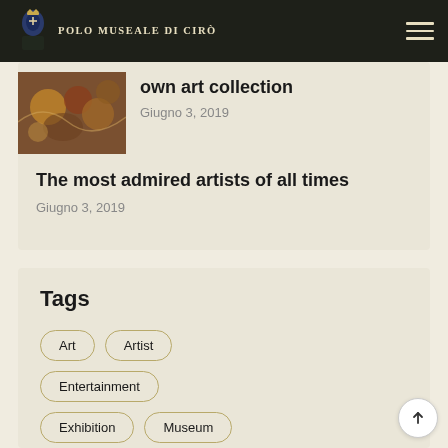POLO MUSEALE DI CIRÒ
own art collection
Giugno 3, 2019
The most admired artists of all times
Giugno 3, 2019
Tags
Art
Artist
Entertainment
Exhibition
Museum
News
Paintings